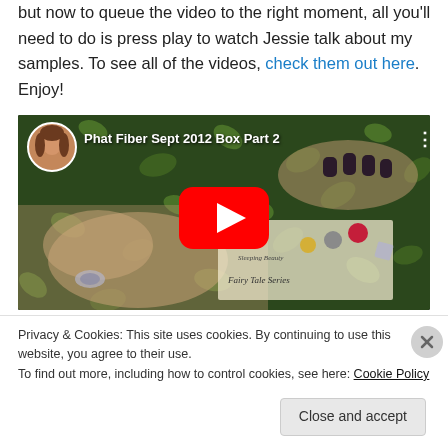but now to queue the video to the right moment, all you'll need to do is press play to watch Jessie talk about my samples. To see all of the videos, check them out here. Enjoy!
[Figure (screenshot): YouTube video embed showing 'Phat Fiber Sept 2012 Box Part 2' with a thumbnail of hands on a green leaf-patterned background displaying jewelry items from the Fairy Tale Series, with a YouTube play button overlay.]
Privacy & Cookies: This site uses cookies. By continuing to use this website, you agree to their use.
To find out more, including how to control cookies, see here: Cookie Policy